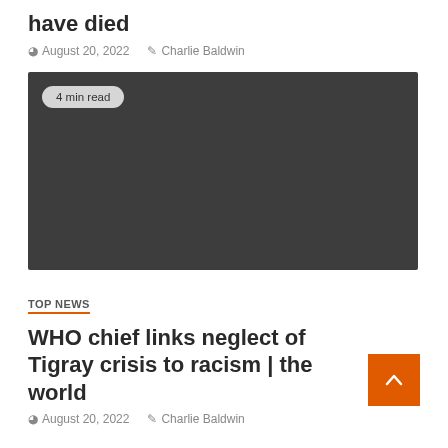have died
August 20, 2022   Charlie Baldwin
[Figure (photo): Dark grey placeholder image with a '4 min read' badge in the upper left corner]
TOP NEWS
WHO chief links neglect of Tigray crisis to racism | the world
August 20, 2022   Charlie Baldwin